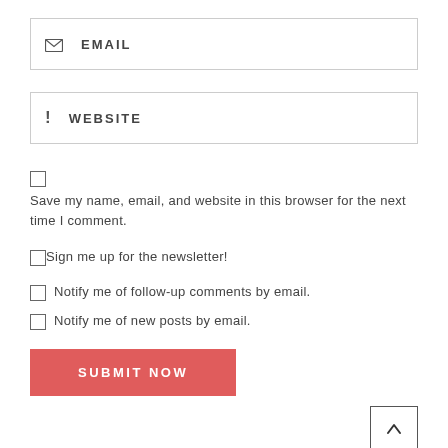EMAIL (input field with envelope icon)
WEBSITE (input field with exclamation icon)
Save my name, email, and website in this browser for the next time I comment.
Sign me up for the newsletter!
Notify me of follow-up comments by email.
Notify me of new posts by email.
SUBMIT NOW